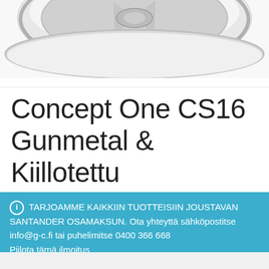[Figure (photo): Partial view of a chrome/silver alloy wheel rim, cropped at the top of the page]
Concept One CS16 Gunmetal & Kiillotettu
ℹ TARJOAMME KAIKKIIN TUOTTEISIIN JOUSTAVAN SANTANDER OSAMAKSUN. Ota yhteyttä sähköpostitse info@g-c.fi tai puhelimitse 0400 366 668
Piilota tämä ilmoitus